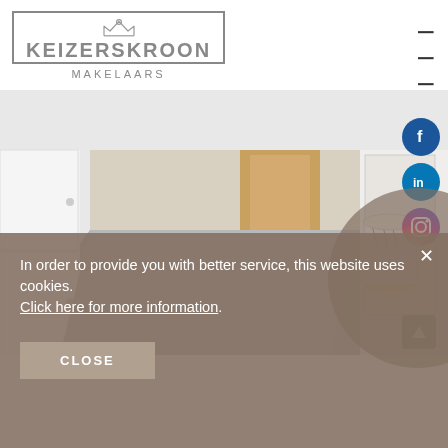[Figure (logo): Keizerskroon Makelaars logo with crown icon and bordered text box]
[Figure (photo): Interior hallway photo showing white cabinets, grey floor, wooden door at end, and a decorative yellow-topped cylindrical container on the right]
In order to provide you with better service, this website uses cookies.
Click here for more information.
CLOSE